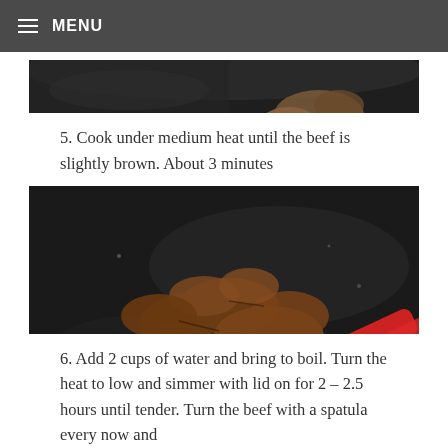MENU
[Figure (photo): Partial top view of beef cooking in a dark wok, cropped at top]
5. Cook under medium heat until the beef is slightly brown. About 3 minutes
[Figure (photo): Browned beef pieces being stirred in a dark wok with a red spatula]
6. Add 2 cups of water and bring to boil. Turn the heat to low and simmer with lid on for 2 – 2.5 hours until tender. Turn the beef with a spatula every now and